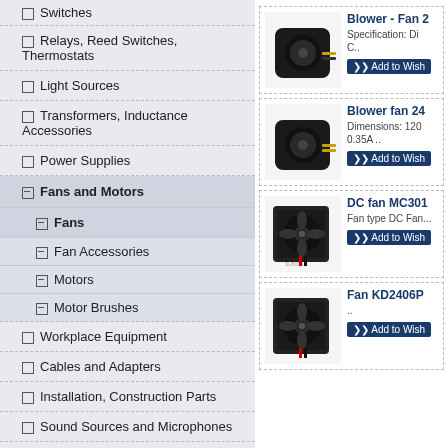Switches
Relays, Reed Switches, Thermostats
Light Sources
Transformers, Inductance Accessories
Power Supplies
Fans and Motors
Fans
Fan Accessories
Motors
Motor Brushes
Workplace Equipment
Cables and Adapters
Installation, Construction Parts
Sound Sources and Microphones
Other
Domestic Equipment and Spare Parts
[Figure (photo): Blower fan product photo - black blower fan with wire leads]
Blower - Fan 2
Specification: Di... C..
Add to Wish
[Figure (photo): Blower fan 24 product photo - black blower fan with wire leads]
Blower fan 24
Dimensions: 120... 0.35A ..
Add to Wish
[Figure (photo): DC fan MC301 product photo - square black axial DC fan]
DC fan MC301
Fan type DC Fan...
Add to Wish
[Figure (photo): Fan KD2406P product photo - square black axial fan with red wire]
Fan KD2406P
..
Add to Wish